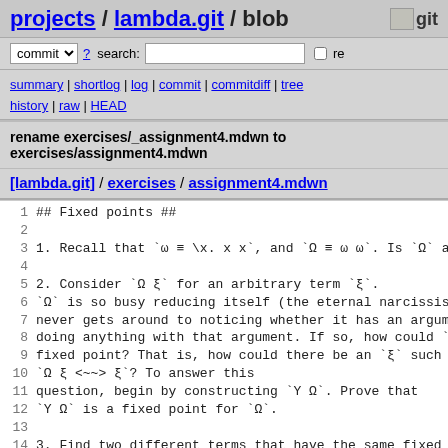projects / lambda.git / blob  git
commit ? search:  re
summary | shortlog | log | commit | commitdiff | tree history | raw | HEAD
rename exercises/_assignment4.mdwn to exercises/assignment4.mdwn
[lambda.git] / exercises / assignment4.mdwn
1  ## Fixed points ##
2
3  1.  Recall that `ω ≡ \x. x x`, and `Ω ≡ ω ω`.  Is `Ω` a
4
5  2.  Consider `Ω ξ` for an arbitrary term `ξ`.
6  `Ω` is so busy reducing itself (the eternal narcissist)
7  never gets around to noticing whether it has an argumen
8  doing anything with that argument.  If so, how could `Ω
9  fixed point?  That is, how could there be an `ξ` such t
10  `Ω ξ <~~> ξ`?  To answer this
11  question, begin by constructing `Y Ω`.  Prove that
12  `Y Ω` is a fixed point for `Ω`.
13
14  3.  Find two different terms that have the same fixed p
15  find terms `F`, `G`, and `ξ` such that `F ξ <~~> ξ` and
16  <~~> ξ`.  (If you need a hint, reread the notes on fixe
17  points.)
18